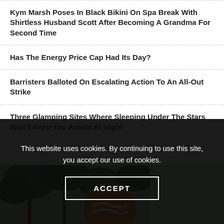Kym Marsh Poses In Black Bikini On Spa Break With Shirtless Husband Scott After Becoming A Grandma For Second Time
Has The Energy Price Cap Had Its Day?
Barristers Balloted On Escalating Action To An All-Out Strike
Three Glamping Sites Where Sleeping Under The Stars Won't Keep You Awake At Night
[Figure (photo): Advertisement banner image with orange Coca-Cola logo and trees, with 'Best Homely in Japan' logo in top right corner]
This website uses cookies. By continuing to use this site, you accept our use of cookies.
ACCEPT